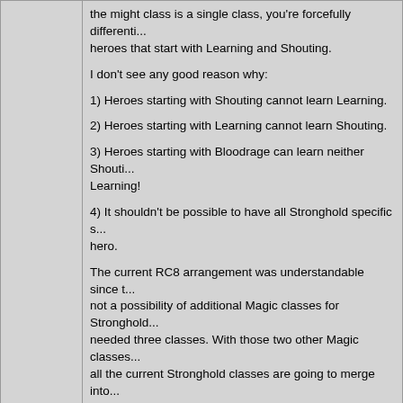the might class is a single class, you're forcefully differenti... heroes that start with Learning and Shouting.
I don't see any good reason why:
1) Heroes starting with Shouting cannot learn Learning.
2) Heroes starting with Learning cannot learn Shouting.
3) Heroes starting with Bloodrage can learn neither Shouti... Learning!
4) It shouldn't be possible to have all Stronghold specific s... hero.
The current RC8 arrangement was understandable since t... not a possibility of additional Magic classes for Stronghold... needed three classes. With those two other Magic classes... all the current Stronghold classes are going to merge into... class, so why not create a synergy and really combine the... one?
Please consider my suggestion again. It makes interesting... development paths possible, without forcing any particular... and still allowing distinct paths for heroes starting with diffe... skills (Bloodrage, Shouting, Learning).
Send Instant Message | Send E-Mail | View Profile | Quote Repl...
magnomagus  Edited by magnomagus